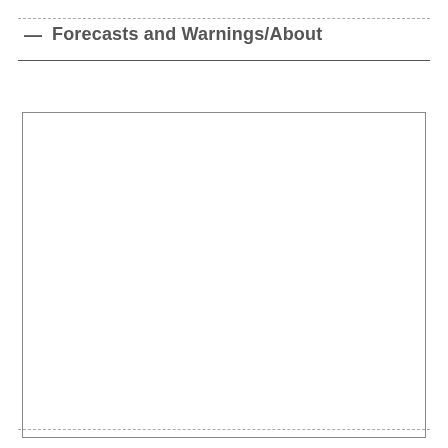— Forecasts and Warnings/About
[Figure (other): Empty white content box with a thin border, representing a placeholder or blank content area for the Forecasts and Warnings/About section.]